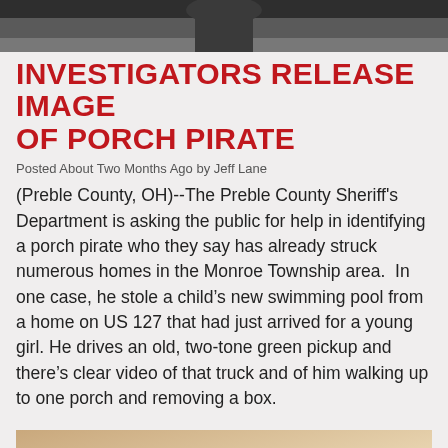[Figure (photo): Top portion of a photo, dark tones, partially cropped person or object]
INVESTIGATORS RELEASE IMAGE OF PORCH PIRATE
Posted About Two Months Ago by Jeff Lane
(Preble County, OH)--The Preble County Sheriff's Department is asking the public for help in identifying a porch pirate who they say has already struck numerous homes in the Monroe Township area. In one case, he stole a child's new swimming pool from a home on US 127 that had just arrived for a young girl. He drives an old, two-tone green pickup and there's clear video of that truck and of him walking up to one porch and removing a box.
[Figure (photo): A wooden gavel resting on a surface, warm brown tones, partially cropped]